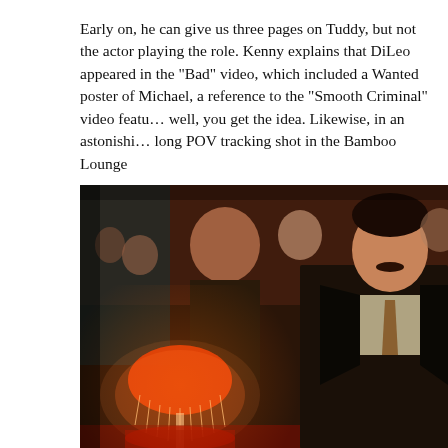Early on, he can give us three pages on Tuddy, but not the actor playing the role. Kenny explains that DiLeo appeared in the "Bad" video, which included a Wanted poster of Michael, a reference to the "Smooth Criminal" video featuring DiLeo as well, you get the idea. Likewise, in an astonishing three-minute long POV tracking shot in the Bamboo Lounge
[Figure (photo): Film still showing a man with a mustache in a suit and tie in the foreground, looking to the right, inside a crowded lounge or bar setting. A red ornate lamp glows in the lower left. Other patrons are visible in the background in warm, dimly lit surroundings.]